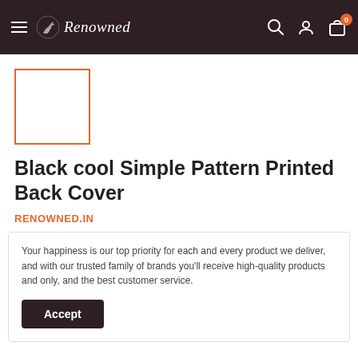Renowned — navigation bar with hamburger menu, logo, search, account, and cart icons
[Figure (other): Product thumbnail placeholder — white box with orange border]
Black cool Simple Pattern Printed Back Cover
RENOWNED.IN
Your happiness is our top priority for each and every product we deliver, and with our trusted family of brands you'll receive high-quality products and only, and the best customer service.
Accept